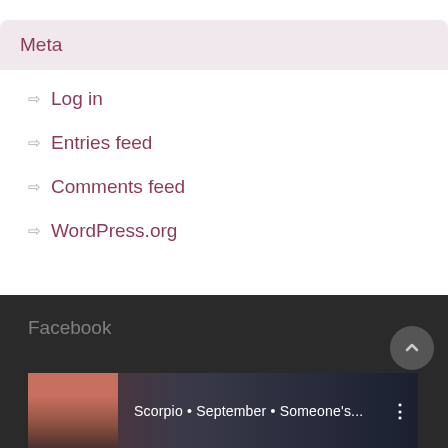Meta
Log in
Entries feed
Comments feed
WordPress.org
Facebook
[Figure (screenshot): Video thumbnail showing a person and text: Scorpio • September • Someone's...]
Scorpio • September • Someone's...